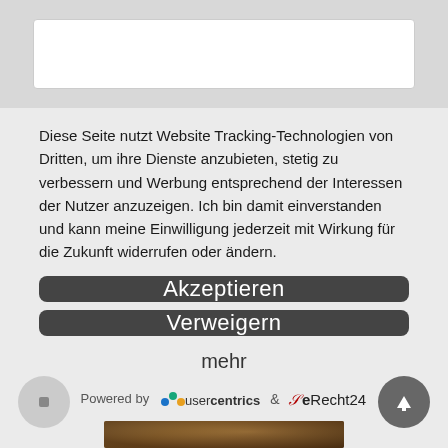Diese Seite nutzt Website Tracking-Technologien von Dritten, um ihre Dienste anzubieten, stetig zu verbessern und Werbung entsprechend der Interessen der Nutzer anzuzeigen. Ich bin damit einverstanden und kann meine Einwilligung jederzeit mit Wirkung für die Zukunft widerrufen oder ändern.
Akzeptieren
Verweigern
mehr
Powered by usercentrics & eRecht24
[Figure (photo): Photo of a wooden surface with flowers/decoration]
[Figure (other): Navigation buttons: back/stop button on left, up arrow on right]